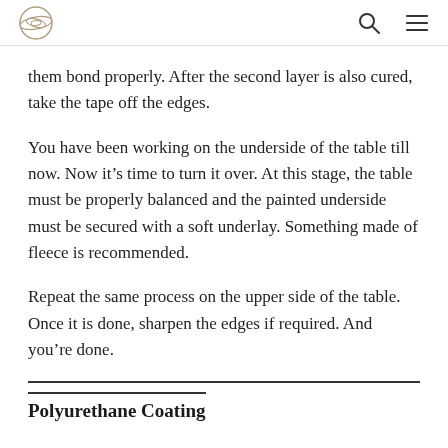[logo] [search icon] [menu icon]
them bond properly. After the second layer is also cured, take the tape off the edges.
You have been working on the underside of the table till now. Now it’s time to turn it over. At this stage, the table must be properly balanced and the painted underside must be secured with a soft underlay. Something made of fleece is recommended.
Repeat the same process on the upper side of the table. Once it is done, sharpen the edges if required. And you’re done.
Polyurethane Coating